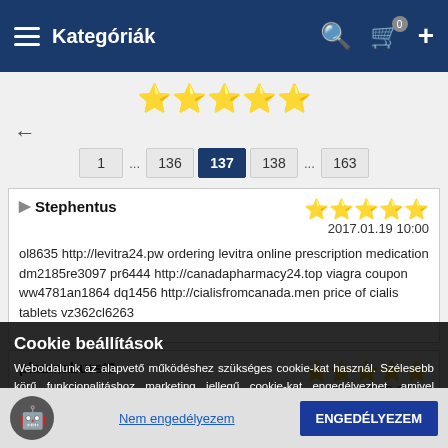Kategóriák
[Figure (other): Five gold star rating]
← back arrow
1 ... 136 137 138 ... 163 (pagination)
Stephentus
2017.01.19 10:00
ol8635 http://levitra24.pw ordering levitra online prescription medication dm2185re3097 pr6444 http://canadapharmacy24.top viagra coupon ww4781an1864 dq1456 http://cialisfromcanada.men price of cialis tablets vz362cl6263
plazmaburst3
2017.01.18 20:29
http://plazmaburst3unblock.snack.ws/ We want to show something fantastic to
Cookie beállítások
Weboldalunk az alapvető működéshez szükséges cookie-kat használ. Szélesebb körű funkcionalitáshoz marketing jellegű cookie-kat engedélyezhet, amivel elfogadja az Adatkezelési tájékoztatóban foglaltakat.
Nem engedélyezem
ENGEDÉLYEZEM